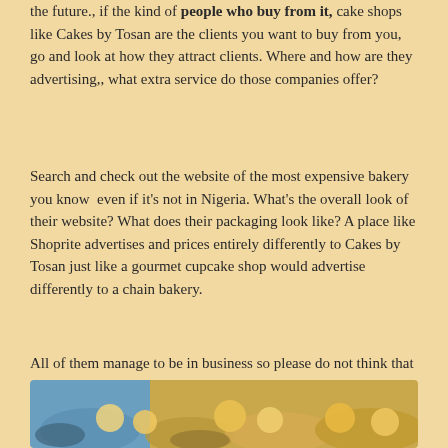the future., if the kind of people who buy from it, cake shops like Cakes by Tosan are the clients you want to buy from you, go and look at how they attract clients. Where and how are they advertising,, what extra service do those companies offer?
Search and check out the website of the most expensive bakery you know  even if it's not in Nigeria. What's the overall look of their website? What does their packaging look like? A place like Shoprite advertises and prices entirely differently to Cakes by Tosan just like a gourmet cupcake shop would advertise differently to a chain bakery.
All of them manage to be in business so please do not think that your only choice is to be for rich people.
[Figure (photo): Photo of baked goods / pastries, partially visible at bottom of page]